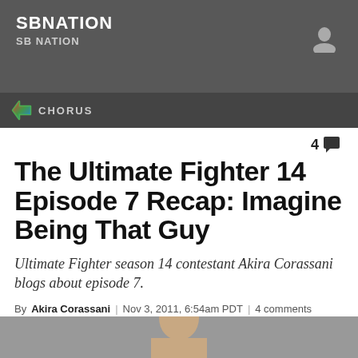SBNATION | SB NATION
[Figure (logo): Chorus logo with arrow icon and CHORUS text in nav bar]
4 comments
The Ultimate Fighter 14 Episode 7 Recap: Imagine Being That Guy
Ultimate Fighter season 14 contestant Akira Corassani blogs about episode 7.
By Akira Corassani | Nov 3, 2011, 6:54am PDT | 4 comments
[Figure (infographic): Social share bar with Facebook, Twitter, and Share button]
[Figure (photo): Bottom cropped photo showing top of a person's head]